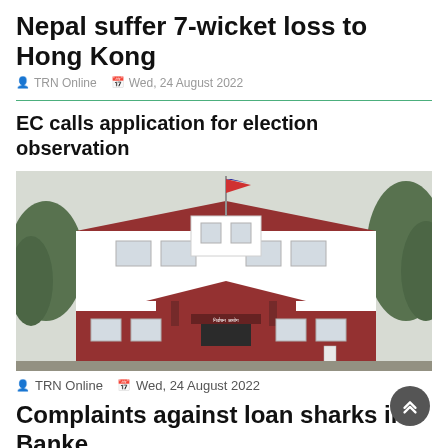Nepal suffer 7-wicket loss to Hong Kong
TRN Online   Wed, 24 August 2022
EC calls application for election observation
[Figure (photo): A red and white multi-storey government building with a Nepali flag on top, surrounded by trees, likely the Election Commission of Nepal office.]
TRN Online   Wed, 24 August 2022
Complaints against loan sharks in Banke